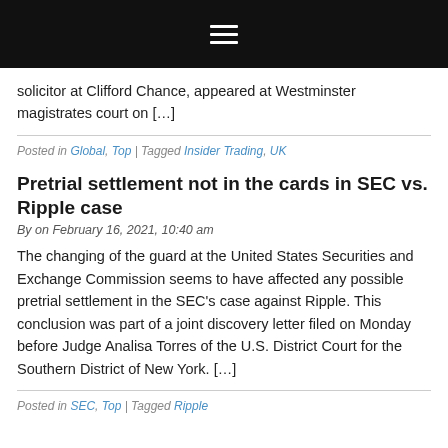≡
solicitor at Clifford Chance, appeared at Westminster magistrates court on […]
Posted in Global, Top | Tagged Insider Trading, UK
Pretrial settlement not in the cards in SEC vs. Ripple case
By on February 16, 2021, 10:40 am
The changing of the guard at the United States Securities and Exchange Commission seems to have affected any possible pretrial settlement in the SEC's case against Ripple. This conclusion was part of a joint discovery letter filed on Monday before Judge Analisa Torres of the U.S. District Court for the Southern District of New York. […]
Posted in SEC, Top | Tagged Ripple